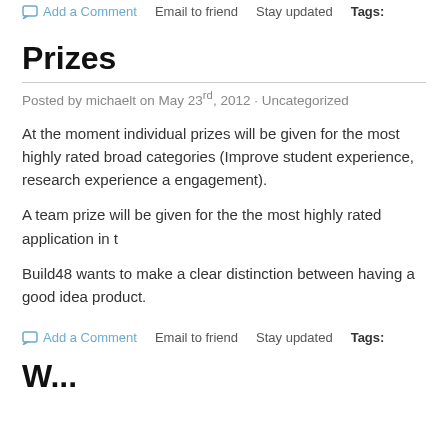Add a Comment   Email to friend   Stay updated   Tags:
Prizes
Posted by michaelt on May 23rd, 2012 · Uncategorized
At the moment individual prizes will be given for the most highly rated broad categories (Improve student experience, research experience a engagement).
A team prize will be given for the the most highly rated application in t
Build48 wants to make a clear distinction between having a good idea product.
Add a Comment   Email to friend   Stay updated   Tags:
W...